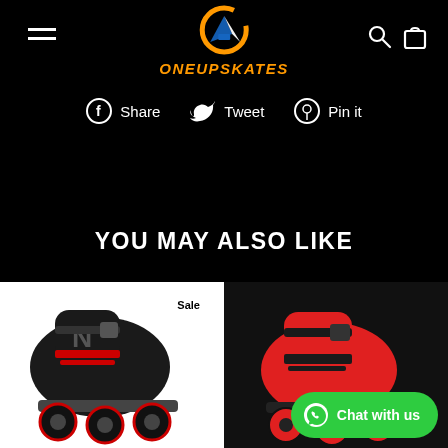[Figure (logo): OneUpSkates logo with orange circle and blue/white geometric skate icon, brand name ONEUPSKATES in orange italic bold below]
Share   Tweet   Pin it
YOU MAY ALSO LIKE
[Figure (photo): Black and red inline skate on white background with Sale badge]
[Figure (photo): Red and black inline skate on dark background with Chat with us button]